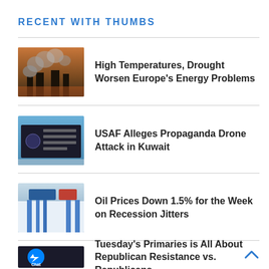RECENT WITH THUMBS
High Temperatures, Drought Worsen Europe's Energy Problems
USAF Alleges Propaganda Drone Attack in Kuwait
Oil Prices Down 1.5% for the Week on Recession Jitters
Tuesday's Primaries is All About Republican Resistance vs. Republicans